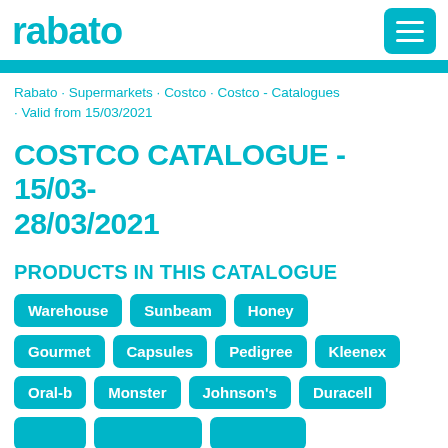rabato
Rabato · Supermarkets · Costco · Costco - Catalogues · Valid from 15/03/2021
COSTCO CATALOGUE - 15/03-28/03/2021
PRODUCTS IN THIS CATALOGUE
Warehouse
Sunbeam
Honey
Gourmet
Capsules
Pedigree
Kleenex
Oral-b
Monster
Johnson's
Duracell